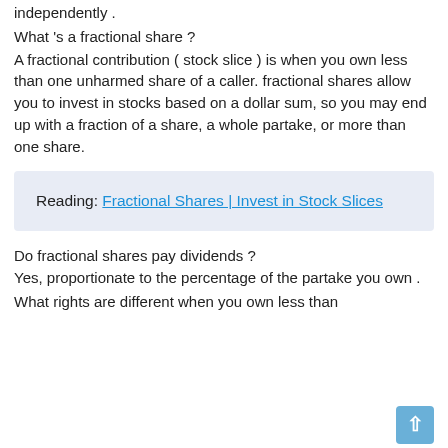independently .
What 's a fractional share ?
A fractional contribution ( stock slice ) is when you own less than one unharmed share of a caller. fractional shares allow you to invest in stocks based on a dollar sum, so you may end up with a fraction of a share, a whole partake, or more than one share.
Reading: Fractional Shares | Invest in Stock Slices
Do fractional shares pay dividends ?
Yes, proportionate to the percentage of the partake you own .
What rights are different when you own less than